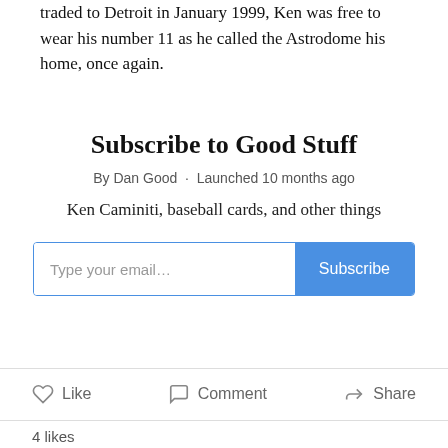traded to Detroit in January 1999, Ken was free to wear his number 11 as he called the Astrodome his home, once again.
Subscribe to Good Stuff
By Dan Good · Launched 10 months ago
Ken Caminiti, baseball cards, and other things
[Figure (other): Email subscription input box with placeholder 'Type your email...' and a blue Subscribe button]
Like   Comment   Share
4 likes